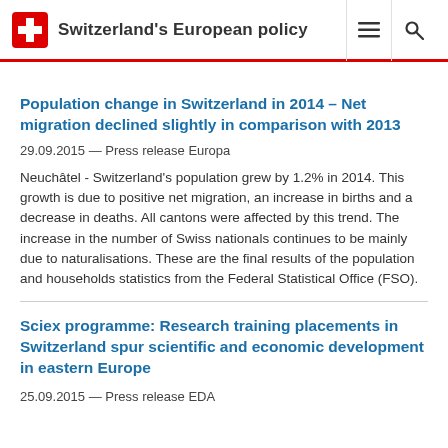Switzerland's European policy
Population change in Switzerland in 2014 – Net migration declined slightly in comparison with 2013
29.09.2015 — Press release Europa
Neuchâtel - Switzerland's population grew by 1.2% in 2014. This growth is due to positive net migration, an increase in births and a decrease in deaths. All cantons were affected by this trend. The increase in the number of Swiss nationals continues to be mainly due to naturalisations. These are the final results of the population and households statistics from the Federal Statistical Office (FSO).
Sciex programme: Research training placements in Switzerland spur scientific and economic development in eastern Europe
25.09.2015 — Press release EDA